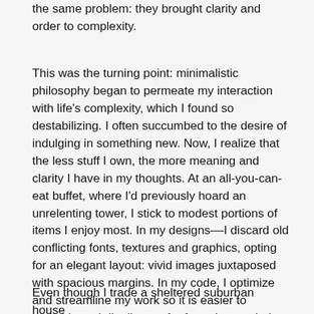the same problem: they brought clarity and order to complexity.
This was the turning point: minimalistic philosophy began to permeate my interaction with life's complexity, which I found so destabilizing. I often succumbed to the desire of indulging in something new. Now, I realize that the less stuff I own, the more meaning and clarity I have in my thoughts. At an all-you-can-eat buffet, where I'd previously hoard an unrelenting tower, I stick to modest portions of items I enjoy most. In my designs––I discard old conflicting fonts, textures and graphics, opting for an elegant layout: vivid images juxtaposed with spacious margins. In my code, I optimize and streamline my work so it is easier to maintain and distribute – far from the tangled mess I would create before.
Even though I trade a sheltered suburban house